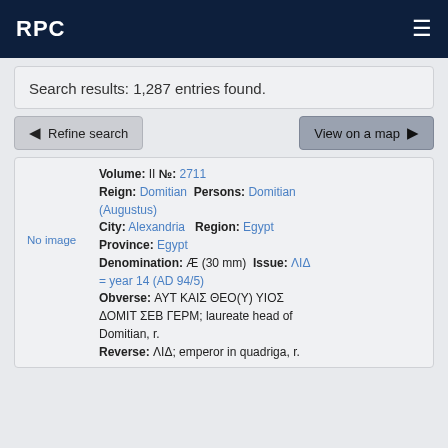RPC
Search results: 1,287 entries found.
Refine search
View on a map
Volume: II №: 2711 Reign: Domitian Persons: Domitian (Augustus) City: Alexandria Region: Egypt Province: Egypt Denomination: Æ (30 mm) Issue: ΛΙΔ = year 14 (AD 94/5) Obverse: ΑΥΤ ΚΑΙΣ ΘΕΟ(Υ) ΥΙΟΣ ΔΟΜΙΤ ΣΕΒ ΓΕΡΜ; laureate head of Domitian, r. Reverse: ΛΙΔ; emperor in quadriga, r.
No image